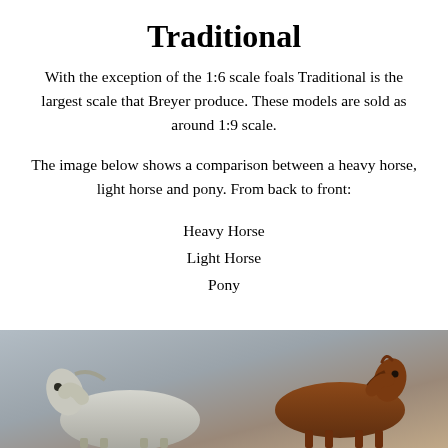Traditional
With the exception of the 1:6 scale foals Traditional is the largest scale that Breyer produce. These models are sold as around 1:9 scale.
The image below shows a comparison between a heavy horse, light horse and pony. From back to front:
Heavy Horse
Light Horse
Pony
[Figure (photo): Photograph showing three Breyer horse models of different sizes — a heavy horse (gray/white), a light horse, and a pony (brown) — arranged from back to front for scale comparison.]